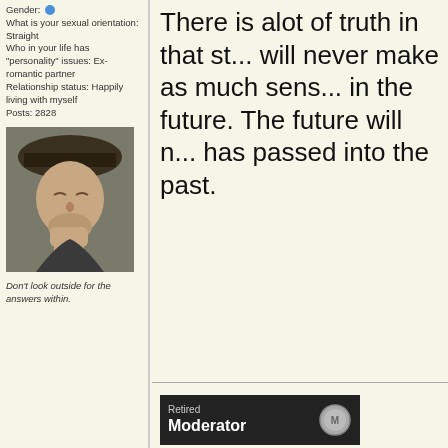Gender: [male] What is your sexual orientation: Straight Who in your life has "personality" issues: Ex-romantic partner Relationship status: Happily living with myself Posts: 2828
[Figure (photo): Avatar photo of a man in a hat looking down thoughtfully with hand near chin]
Don't look outside for the answers within.
There is alot of truth in that st... will never make as much sens... in the future. The future will n... has passed into the past.
[Figure (other): Retired Moderator badge - dark background with coin icon]
Natasha Tomicic
AKA Seadragonn@
Offline
Gender: [female] What is your sexual orientation: Straight Who in your life has "personality" issues: Ex-romantic partner Posts: 4825
Re: Allowing the winds of ch... lives
« Reply #9 on: March 28, 2009, 03:23:08 AM »
The Present was the Future o...
...make changes in the now a... future, that is within the now...